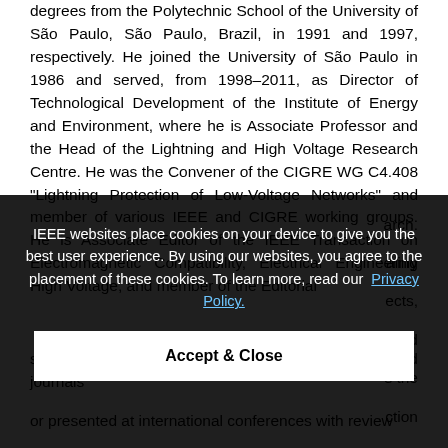degrees from the Polytechnic School of the University of São Paulo, São Paulo, Brazil, in 1991 and 1997, respectively. He joined the University of São Paulo in 1986 and served, from 1998–2011, as Director of Technological Development of the Institute of Energy and Environment, where he is Associate Professor and the Head of the Lightning and High Voltage Research Centre. He was the Convener of the CIGRE WG C4.408 "Lightning Protection of Low-Voltage Networks" and member of various IEEE and CIGRE working groups. He is Associate Editor of the IEEE Transaction on Electromagnetic Compatibility, Electrical Engineering High Voltage, and member of the Editorial ... arch. ...ainly ects, and s the ction rious ction qing ward 8 he s the 150 scientific papers published in prestigious reviewed journals or presented at international conferences with review
IEEE websites place cookies on your device to give you the best user experience. By using our websites, you agree to the placement of these cookies. To learn more, read our Privacy Policy.
Accept & Close